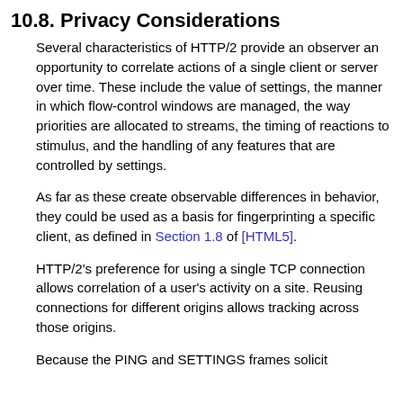10.8. Privacy Considerations
Several characteristics of HTTP/2 provide an observer an opportunity to correlate actions of a single client or server over time. These include the value of settings, the manner in which flow-control windows are managed, the way priorities are allocated to streams, the timing of reactions to stimulus, and the handling of any features that are controlled by settings.
As far as these create observable differences in behavior, they could be used as a basis for fingerprinting a specific client, as defined in Section 1.8 of [HTML5].
HTTP/2's preference for using a single TCP connection allows correlation of a user's activity on a site. Reusing connections for different origins allows tracking across those origins.
Because the PING and SETTINGS frames solicit...